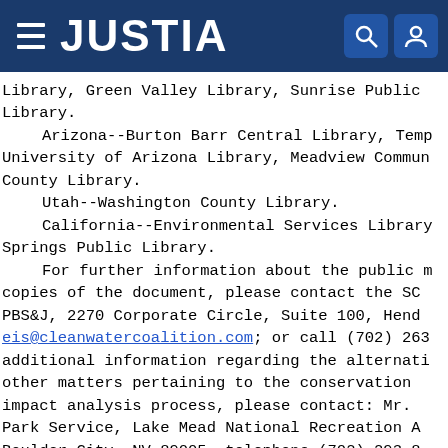JUSTIA
Library, Green Valley Library, Sunrise Public Library.
Arizona--Burton Barr Central Library, Tempe, University of Arizona Library, Meadview Community County Library.
Utah--Washington County Library.
California--Environmental Services Library, Springs Public Library.
For further information about the public meeting/copies of the document, please contact the SCOR PBS&J, 2270 Corporate Circle, Suite 100, Henderson; eis@cleanwatercoalition.com; or call (702) 263-...; additional information regarding the alternatives or other matters pertaining to the conservation planning impact analysis process, please contact: Mr. M..., Park Service, Lake Mead National Recreation Area, Boulder City, NV 89005, telephone (702) 293-89...